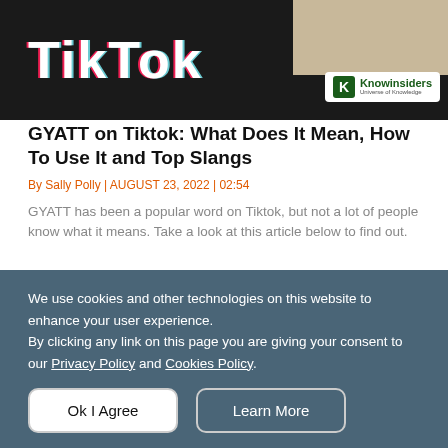[Figure (photo): TikTok logo text on dark background with partial tan/beige background on right side and Knowinsiders logo overlay]
GYATT on Tiktok: What Does It Mean, How To Use It and Top Slangs
By Sally Polly | AUGUST 23, 2022 | 02:54
GYATT has been a popular word on Tiktok, but not a lot of people know what it means. Take a look at this article below to find out.
[Figure (photo): Person wearing white shirt and black tie, gray background]
We use cookies and other technologies on this website to enhance your user experience.
By clicking any link on this page you are giving your consent to our Privacy Policy and Cookies Policy.
Ok I Agree
Learn More